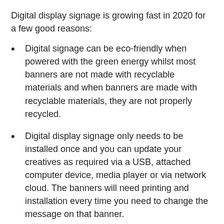Digital display signage is growing fast in 2020 for a few good reasons:
Digital signage can be eco-friendly when powered with the green energy whilst most banners are not made with recyclable materials and when banners are made with recyclable materials, they are not properly recycled.
Digital display signage only needs to be installed once and you can update your creatives as required via a USB, attached computer device, media player or via network cloud. The banners will need printing and installation every time you need to change the message on that banner.
Below are some of the sizes and dimensions available in LED LCD displays. However, display can be customised in any size, shape and dimension. Outdoor displays can